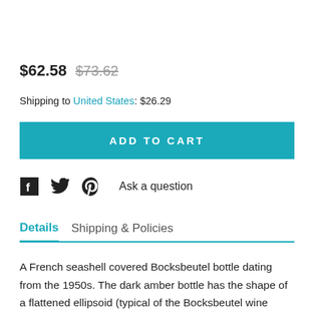$62.58 $73.62
Shipping to United States: $26.29
ADD TO CART
Ask a question
Details   Shipping & Policies
A French seashell covered Bocksbeutel bottle dating from the 1950s. The dark amber bottle has the shape of a flattened ellipsoid (typical of the Bocksbeutel wine bottle) an has been hand crafted in a traditional mosaic shell art design with small shells. The shells are secured to the exterior by a harden putty. The underside of the bottle